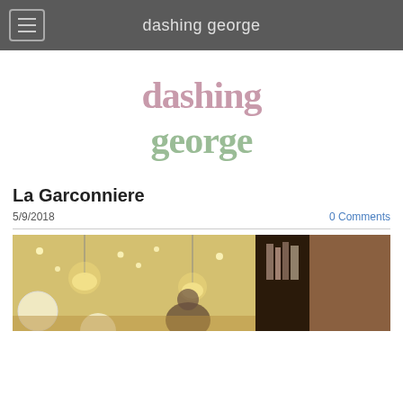dashing george
[Figure (logo): Dashing George blog logo with stylized text in pink and green colors]
La Garconniere
5/9/2018
0 Comments
[Figure (photo): Interior of La Garconniere restaurant showing ceiling with hanging lights, brick walls, and dark framed windows with books visible]